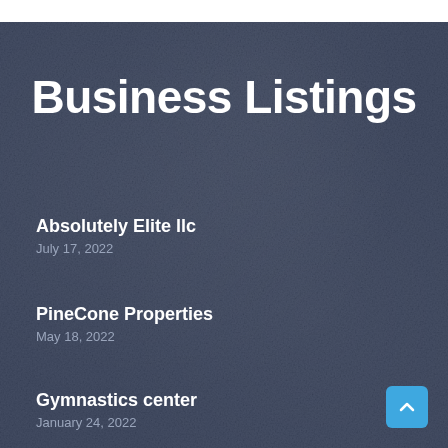Business Listings
Absolutely Elite llc
July 17, 2022
PineCone Properties
May 18, 2022
Gymnastics center
January 24, 2022